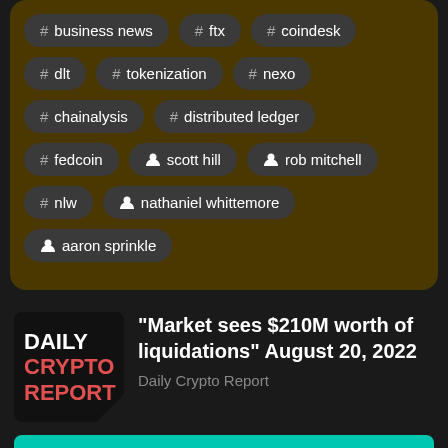# business news
# ftx
# coindesk
# dlt
# tokenization
# nexo
# chainalysis
# distributed ledger
# fedcoin
person scott hill
person rob mitchell
# nlw
person nathaniel whittemore
person aaron sprinkle
[Figure (logo): Daily Crypto Report logo: black background with DAILY in white, CRYPTO in red, REPORT in red, with a triangle cutout at bottom-right corner]
"Market sees $210M worth of liquidations" August 20, 2022
Daily Crypto Report